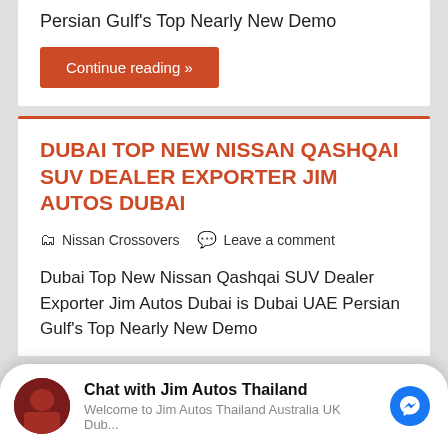Persian Gulf's Top Nearly New Demo
Continue reading »
DUBAI TOP NEW NISSAN QASHQAI SUV DEALER EXPORTER JIM AUTOS DUBAI
Nissan Crossovers   Leave a comment
Dubai Top New Nissan Qashqai SUV Dealer Exporter Jim Autos Dubai is Dubai UAE Persian Gulf's Top Nearly New Demo
Chat with Jim Autos Thailand
Welcome to Jim Autos Thailand Australia UK Dub...